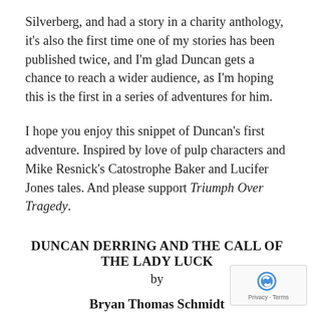Silverberg, and had a story in a charity anthology, it's also the first time one of my stories has been published twice, and I'm glad Duncan gets a chance to reach a wider audience, as I'm hoping this is the first in a series of adventures for him.
I hope you enjoy this snippet of Duncan's first adventure. Inspired by love of pulp characters and Mike Resnick's Catostrophe Baker and Lucifer Jones tales. And please support Triumph Over Tragedy.
DUNCAN DERRING AND THE CALL OF THE LADY LUCK
by
Bryan Thomas Schmidt